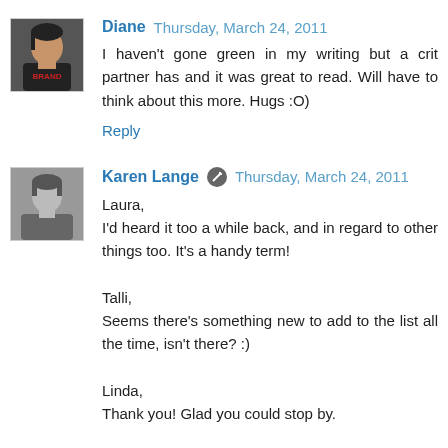Diane  Thursday, March 24, 2011
I haven't gone green in my writing but a crit partner has and it was great to read. Will have to think about this more. Hugs :O)
Reply
Karen Lange  Thursday, March 24, 2011
Laura,
I'd heard it too a while back, and in regard to other things too. It's a handy term!

Talli,
Seems there's something new to add to the list all the time, isn't there? :)

Linda,
Thank you! Glad you could stop by.

Diane,
It is good food for thought. I've been pondering it a lot.